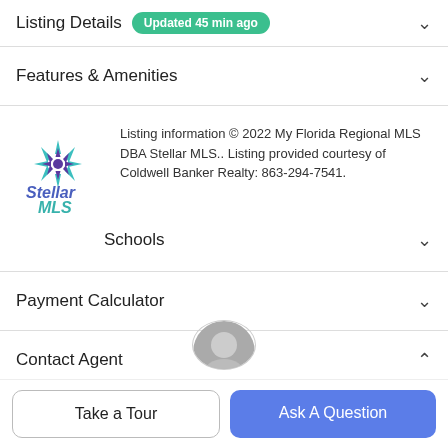Listing Details  Updated 45 min ago
Features & Amenities
Listing information © 2022 My Florida Regional MLS DBA Stellar MLS.. Listing provided courtesy of Coldwell Banker Realty: 863-294-7541.
Schools
Payment Calculator
Contact Agent
Take a Tour
Ask A Question